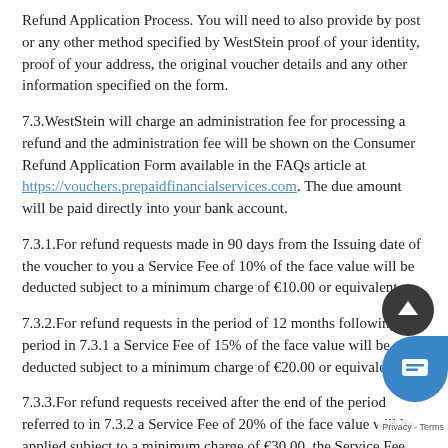Refund Application Process. You will need to also provide by post or any other method specified by WestStein proof of your identity, proof of your address, the original voucher details and any other information specified on the form.
7.3.WestStein will charge an administration fee for processing a refund and the administration fee will be shown on the Consumer Refund Application Form available in the FAQs article at https://vouchers.prepaidfinancialservices.com. The due amount will be paid directly into your bank account.
7.3.1.For refund requests made in 90 days from the Issuing date of the voucher to you a Service Fee of 10% of the face value will be deducted subject to a minimum charge of €10.00 or equivalent.
7.3.2.For refund requests in the period of 12 months following the period in 7.3.1 a Service Fee of 15% of the face value will be deducted subject to a minimum charge of €20.00 or equivalent.
7.3.3.For refund requests received after the end of the period referred to in 7.3.2 a Service Fee of 20% of the face value will be applied subject to a minimum charge of €30.00, the Service Fee increasing by 5% every 12 months until the end of the period in